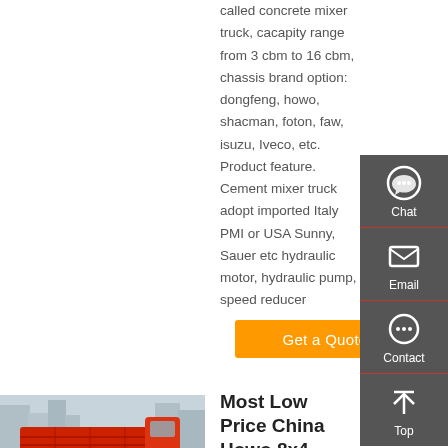called concrete mixer truck, cacapity range from 3 cbm to 16 cbm, chassis brand option: dongfeng, howo, shacman, foton, faw, isuzu, Iveco, etc. Product feature. Cement mixer truck adopt imported Italy PMI or USA Sunny, Sauer etc hydraulic motor, hydraulic pump, speed reducer
Get a Quote
[Figure (other): Sidebar with Chat, Email, Contact, Top navigation icons on dark gray background]
[Figure (photo): Red Howo dump truck parked in front of urban buildings]
Most Low Price China Howo 8x4 16CBM Howo